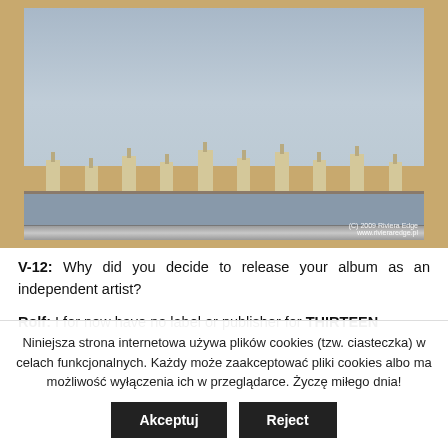[Figure (photo): A photograph of a CD case or album placed on a wooden surface, showing tall residential tower buildings along a waterfront under a grey-blue sky. Watermark text reads '(C) 2009 Riviera Edge www.rivieraredge.pl' in bottom right corner.]
V-12: Why did you decide to release your album as an independent artist?
Rolf: I for now have no label or publisher for THIRTEEN
Niniejsza strona internetowa używa plików cookies (tzw. ciasteczka) w celach funkcjonalnych. Każdy może zaakceptować pliki cookies albo ma możliwość wyłączenia ich w przeglądarce. Życzę miłego dnia!